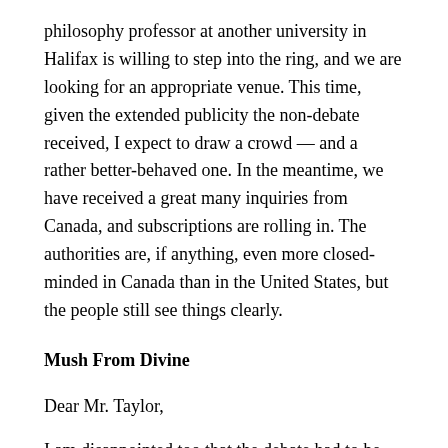philosophy professor at another university in Halifax is willing to step into the ring, and we are looking for an appropriate venue. This time, given the extended publicity the non-debate received, I expect to draw a crowd — and a rather better-behaved one. In the meantime, we have received a great many inquiries from Canada, and subscriptions are rolling in. The authorities are, if anything, even more closed-minded in Canada than in the United States, but the people still see things clearly.
Mush From Divine
Dear Mr. Taylor,
I am disappointed too that the debate had to be cancelled.
As the Dalhousie University statement outlines, it was felt after further reflection and recent coverage of the issues, that